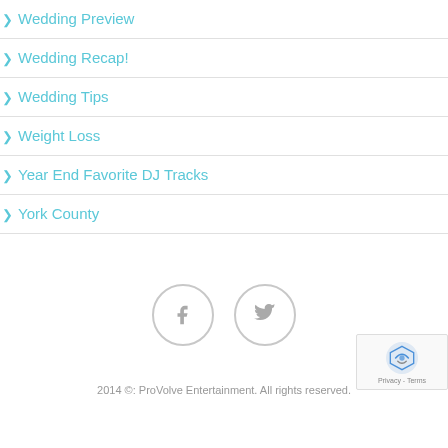Wedding Preview
Wedding Recap!
Wedding Tips
Weight Loss
Year End Favorite DJ Tracks
York County
[Figure (illustration): Social media icons: Facebook and Twitter in circular outlines]
2014 ©: ProVolve Entertainment. All rights reserved.